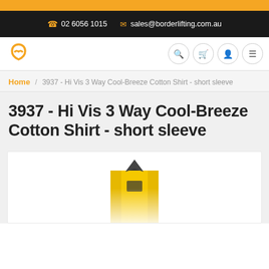02 6056 1015  sales@borderlifting.com.au
[Figure (logo): Border Lifting logo - orange shield/hook icon]
Home / 3937 - Hi Vis 3 Way Cool-Breeze Cotton Shirt - short sleeve
3937 - Hi Vis 3 Way Cool-Breeze Cotton Shirt - short sleeve
[Figure (photo): Product photo of a yellow hi-vis short sleeve shirt with dark collar, partially visible, blurred/cropped at bottom of page]